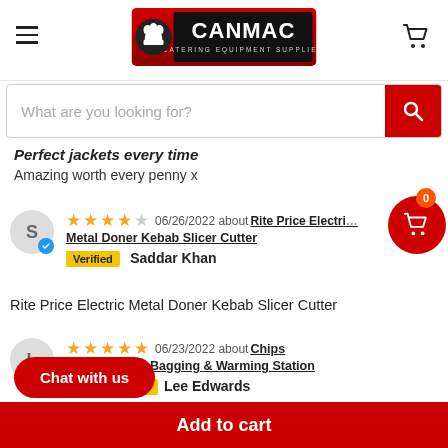[Figure (logo): Canmac Catering Equipment Supplier logo — red background, black panel with white text and chef icon]
What are you looking for?
Perfect jackets every time
Amazing worth every penny x
06/26/2022 about Rite Price Electric Metal Doner Kebab Slicer Cutter — Verified — Saddar Khan — 4 stars
Rite Price Electric Metal Doner Kebab Slicer Cutter
06/23/2022 about Chips Scuttle/Dump Bagging & Warming Station — Verified — Lee Edwards — 5 stars
packaged well and delivered with respect
Add to cart